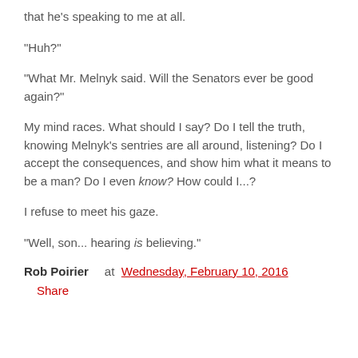that he's speaking to me at all.
"Huh?"
"What Mr. Melnyk said. Will the Senators ever be good again?"
My mind races. What should I say? Do I tell the truth, knowing Melnyk's sentries are all around, listening? Do I accept the consequences, and show him what it means to be a man? Do I even know? How could I...?
I refuse to meet his gaze.
"Well, son... hearing is believing."
Rob Poirier    at Wednesday, February 10, 2016
Share